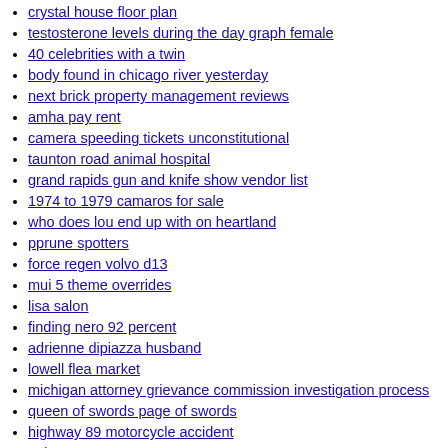crystal house floor plan
testosterone levels during the day graph female
40 celebrities with a twin
body found in chicago river yesterday
next brick property management reviews
amha pay rent
camera speeding tickets unconstitutional
taunton road animal hospital
grand rapids gun and knife show vendor list
1974 to 1979 camaros for sale
who does lou end up with on heartland
pprune spotters
force regen volvo d13
mui 5 theme overrides
lisa salon
finding nero 92 percent
adrienne dipiazza husband
lowell flea market
michigan attorney grievance commission investigation process
queen of swords page of swords
highway 89 motorcycle accident
anime stores near me open
washington gun show
wind creek casino bus schedule